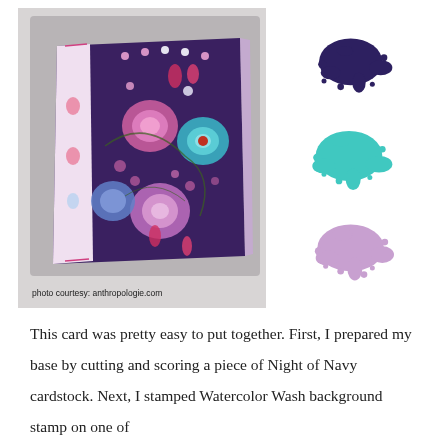[Figure (photo): A decorative floral pillow on a gray background with paint splat swatches (navy, turquoise, pink) on the right side. Photo credit reads: photo courtesy: anthropologie.com]
photo courtesy: anthropologie.com
This card was pretty easy to put together. First, I prepared my base by cutting and scoring a piece of Night of Navy cardstock. Next, I stamped Watercolor Wash background stamp on one of